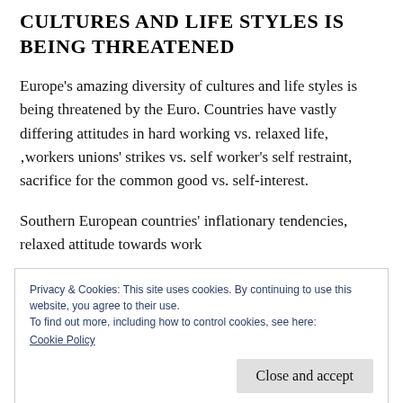CULTURES AND LIFE STYLES IS BEING THREATENED
Europe’s amazing diversity of cultures and life styles is being threatened by the Euro. Countries have vastly differing attitudes in hard working vs. relaxed life, ‚workers unions’ strikes vs. self worker’s self restraint, sacrifice for the common good vs. self-interest.
Southern European countries’ inflationary tendencies, relaxed attitude towards work
Privacy & Cookies: This site uses cookies. By continuing to use this website, you agree to their use.
To find out more, including how to control cookies, see here:
Cookie Policy
overspending.